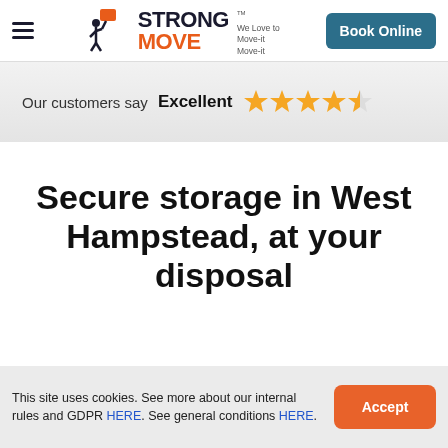Strong Move — We Love to Move-it Move-it | Book Online
Our customers say Excellent ★★★★☆
Secure storage in West Hampstead, at your disposal
This site uses cookies. See more about our internal rules and GDPR HERE. See general conditions HERE.